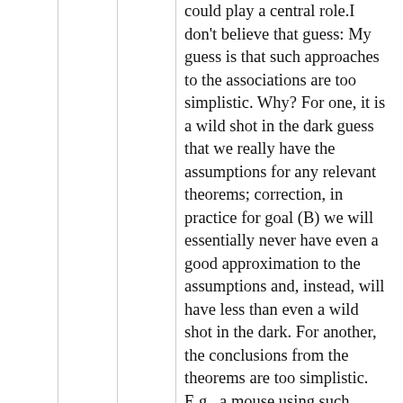could play a central role.I don't believe that guess: My guess is that such approaches to the associations are too simplistic. Why? For one, it is a wild shot in the dark guess that we really have the assumptions for any relevant theorems; correction, in practice for goal (B) we will essentially never have even a good approximation to the assumptions and, instead, will have less than even a wild shot in the dark. For another, the conclusions from the theorems are too simplistic. E.g., a mouse using such thinking would quickly get tricked by a smart kitty cat, e.g., maybe with just the classic trick of bait, scaring the